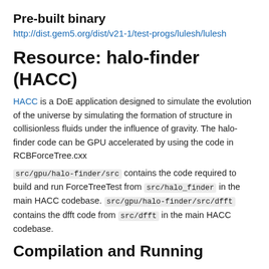Pre-built binary
http://dist.gem5.org/dist/v21-1/test-progs/lulesh/lulesh
Resource: halo-finder (HACC)
HACC is a DoE application designed to simulate the evolution of the universe by simulating the formation of structure in collisionless fluids under the influence of gravity. The halo-finder code can be GPU accelerated by using the code in RCBForceTree.cxx
src/gpu/halo-finder/src contains the code required to build and run ForceTreeTest from src/halo_finder in the main HACC codebase. src/gpu/halo-finder/src/dfft contains the dfft code from src/dfft in the main HACC codebase.
Compilation and Running